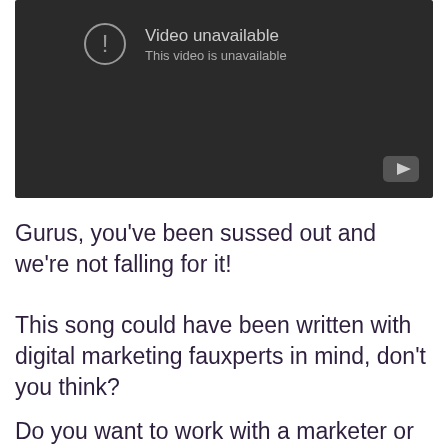[Figure (screenshot): YouTube video player showing 'Video unavailable' error message with a circle exclamation icon and YouTube logo button in the bottom right corner.]
Gurus, you’ve been sussed out and we’re not falling for it!
This song could have been written with digital marketing fauxperts in mind, don’t you think?
Do you want to work with a marketer or